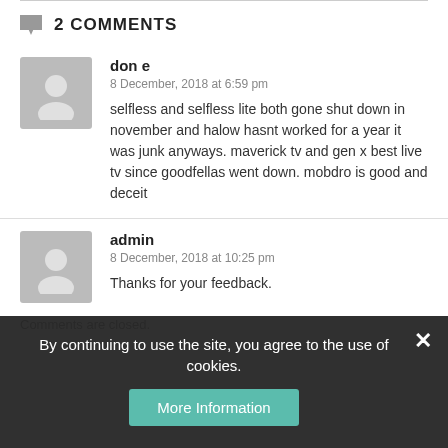2 COMMENTS
don e
8 December, 2018 at 6:59 pm
selfless and selfless lite both gone shut down in november and halow hasnt worked for a year it was junk anyways. maverick tv and gen x best live tv since goodfellas went down. mobdro is good and deceit
admin
8 December, 2018 at 10:25 pm
Thanks for your feedback.
Comments are closed.
By continuing to use the site, you agree to the use of cookies.